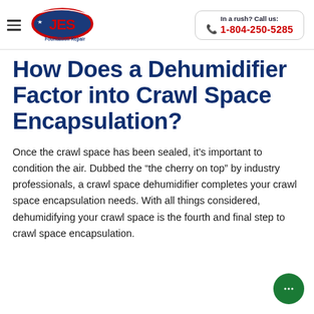JES Foundation Repair | In a rush? Call us: 1-804-250-5285
How Does a Dehumidifier Factor into Crawl Space Encapsulation?
Once the crawl space has been sealed, it's important to condition the air. Dubbed the “the cherry on top” by industry professionals, a crawl space dehumidifier completes your crawl space encapsulation needs. With all things considered, dehumidifying your crawl space is the fourth and final step to crawl space encapsulation.